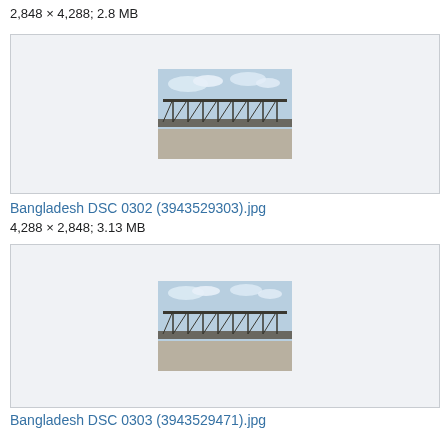2,848 × 4,288; 2.8 MB
[Figure (photo): Thumbnail of Bangladesh DSC 0302 showing a steel truss bridge against a cloudy sky]
Bangladesh DSC 0302 (3943529303).jpg
4,288 × 2,848; 3.13 MB
[Figure (photo): Thumbnail of Bangladesh DSC 0303 showing a steel truss bridge against a cloudy sky]
Bangladesh DSC 0303 (3943529471).jpg